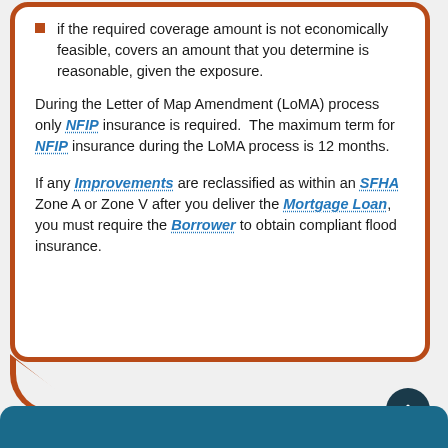if the required coverage amount is not economically feasible, covers an amount that you determine is reasonable, given the exposure.
During the Letter of Map Amendment (LoMA) process only NFIP insurance is required. The maximum term for NFIP insurance during the LoMA process is 12 months.
If any Improvements are reclassified as within an SFHA Zone A or Zone V after you deliver the Mortgage Loan, you must require the Borrower to obtain compliant flood insurance.